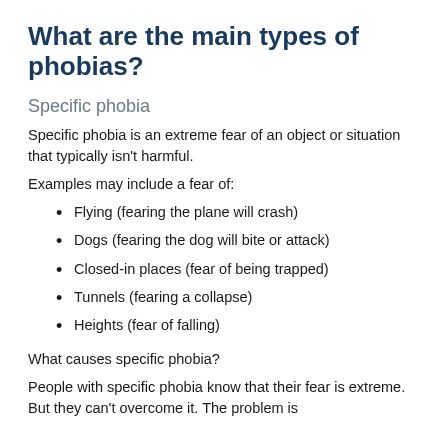What are the main types of phobias?
Specific phobia
Specific phobia is an extreme fear of an object or situation that typically isn't harmful.
Examples may include a fear of:
Flying (fearing the plane will crash)
Dogs (fearing the dog will bite or attack)
Closed-in places (fear of being trapped)
Tunnels (fearing a collapse)
Heights (fear of falling)
What causes specific phobia?
People with specific phobia know that their fear is extreme. But they can't overcome it. The problem is